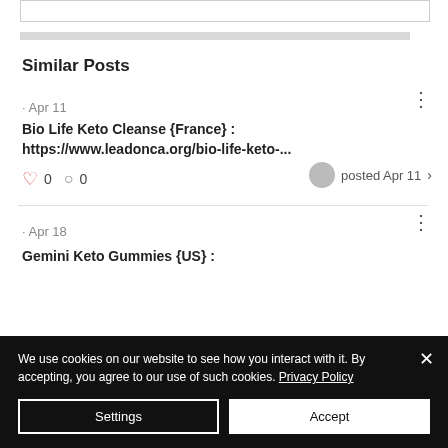Similar Posts
· Apr 11
Bio Life Keto Cleanse {France} : https://www.leadonca.org/bio-life-keto-...
0  0  posted Apr 11
· Apr 18
Gemini Keto Gummies {US} :
We use cookies on our website to see how you interact with it. By accepting, you agree to our use of such cookies. Privacy Policy
Settings
Accept